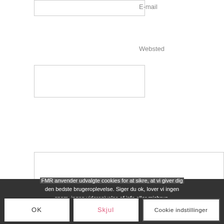E-mail
[Figure (screenshot): Text input field for E-mail (partially visible at top)]
Websted
[Figure (screenshot): Text input field for Websted]
[Figure (screenshot): Large textarea for comment input]
FMR anvender udvalgte cookies for at sikre, at vi giver dig den bedste brugeroplevelse. Siger du ok, lover vi ingen spam, ingen videregivelse af info eller misbrug.
OK
Skjul
Cookie indstillinger